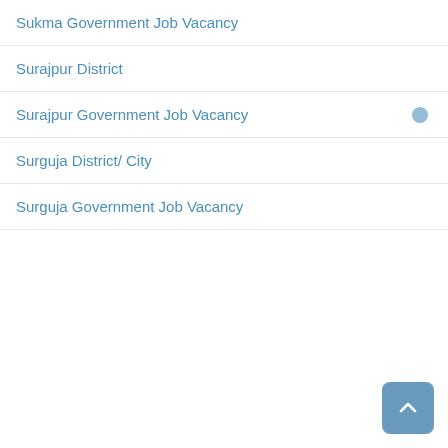Sukma Government Job Vacancy
Surajpur District
Surajpur Government Job Vacancy
Surguja District/ City
Surguja Government Job Vacancy